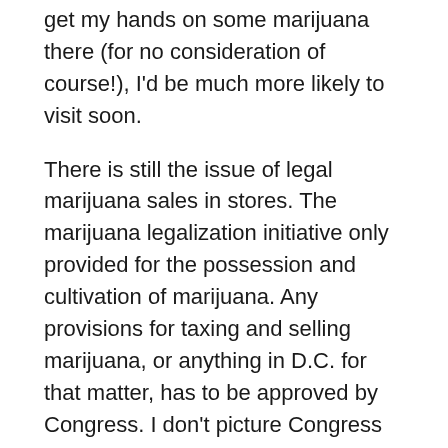get my hands on some marijuana there (for no consideration of course!), I'd be much more likely to visit soon.
There is still the issue of legal marijuana sales in stores. The marijuana legalization initiative only provided for the possession and cultivation of marijuana. Any provisions for taxing and selling marijuana, or anything in D.C. for that matter, has to be approved by Congress. I don't picture Congress willingly doing that right now, but I think that seeing how much marijuana is flowing through D.C. once everyone starts harvesting could change that for some federal politicians. Hopefully they realize that it would be better to bring some of that marijuana into a system where taxes can be collected, rather than just sticking their heads in the